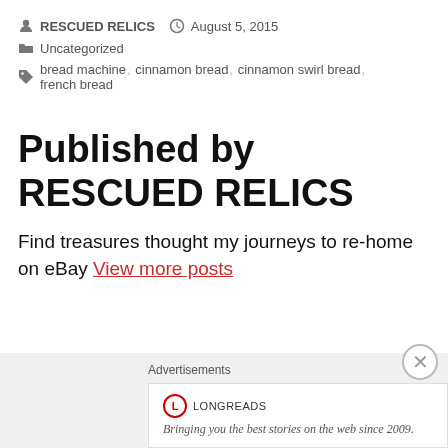RESCUED RELICS  August 5, 2015  Uncategorized  bread machine, cinnamon bread, cinnamon swirl bread, french bread
Published by RESCUED RELICS
Find treasures thought my journeys to re-home on eBay View more posts
Advertisements
[Figure (logo): Longreads logo with red circle L and text: Bringing you the best stories on the web since 2009.]